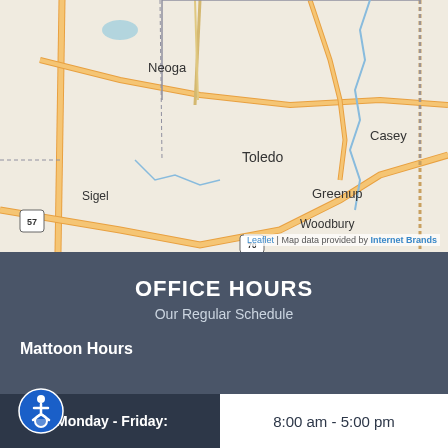[Figure (map): Road map showing area around Toledo, Greenup, Sigel, Neoga, Woodbury, and Casey in Illinois. Roads shown include Route 57 and Route 70. Attribution reads: Leaflet | Map data provided by Internet Brands.]
OFFICE HOURS
Our Regular Schedule
Mattoon Hours
| Day | Hours |
| --- | --- |
| Monday - Friday: | 8:00 am - 5:00 pm |